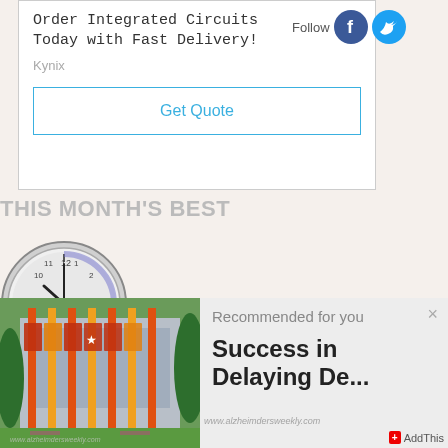[Figure (screenshot): Advertisement box for Kynix integrated circuits with Get Quote button and Follow social icons (Facebook and Twitter)]
Order Integrated Circuits Today with Fast Delivery!
Kynix
Get Quote
Follow
THIS MONTH'S BEST
[Figure (photo): Analog clock with black hands showing time, silver/grey casing]
[Figure (photo): Photo of a building exterior with colorful orange and red banners/flags on poles; trees visible in background]
Recommended for you
Success in Delaying De...
www.alzheimdersweekly.com
AddThis